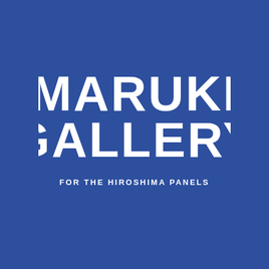[Figure (logo): Maruki Gallery logo on solid blue background. Large brush-painted white text reading MARUKI on first line and GALLERY on second line, with smaller subtitle text FOR THE HIROSHIMA PANELS below.]